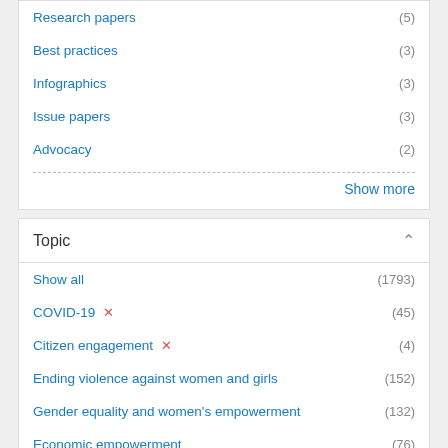Research papers (5)
Best practices (3)
Infographics (3)
Issue papers (3)
Advocacy (2)
Show more
Topic
Show all (1793)
COVID-19 ✕ (45)
Citizen engagement ✕ (4)
Ending violence against women and girls (152)
Gender equality and women's empowerment (132)
Economic empowerment (76)
Leadership and political participation (49)
Peace and security (48)
Gender equality and inequality (40)